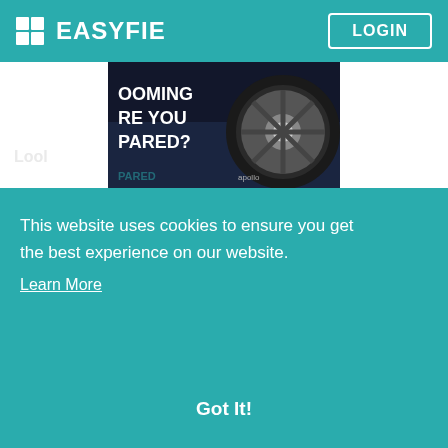EASYFIE  LOGIN
[Figure (photo): Apollo Tyres advertisement banner showing a car wheel/tyre with text 'COMING ARE YOU PREPARED?' against a dark cityscape background]
Best Tyre Repair Shop Near Me - Apollo Tyr...
Are you searching for tyre repair shop? Are you using search
This website uses cookies to ensure you get the best experience on our website.
Learn More
Got It!
[Figure (photo): Bottom portion of tyre/wheel image visible at the very bottom of the page]